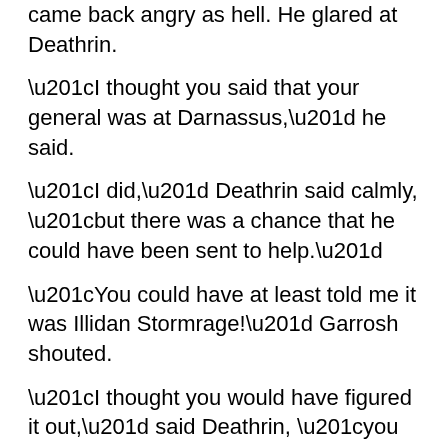came back angry as hell. He glared at Deathrin.
“I thought you said that your general was at Darnassus,” he said.
“I did,” Deathrin said calmly, “but there was a chance that he could have been sent to help.”
“You could have at least told me it was Illidan Stormrage!” Garrosh shouted.
“I thought you would have figured it out,” said Deathrin, “you must be slower than I thought.”
Garrosh pulled out Gorehowl. Deathrin quickly crossed his blades and had them up to Garrosh’s neck.
“I can and will do it,” Deathrin said, “I can also destroy Orgrimmar.”
Garrosh lowered Gorehowl as Deathrin lowered his swords.
“Deathrin?” a female voice asked.
He looked over at the entrance. There stood a female